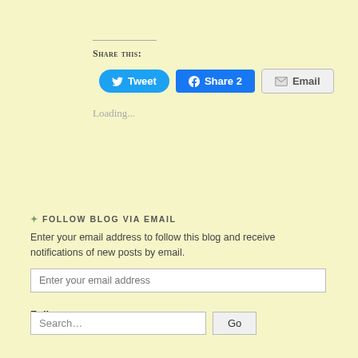Share this:
[Figure (other): Social sharing buttons: Tweet (Twitter), Share 2 (Facebook), Email]
Loading...
✦ FOLLOW BLOG VIA EMAIL
Enter your email address to follow this blog and receive notifications of new posts by email.
Enter your email address
Follow
Search…
Go